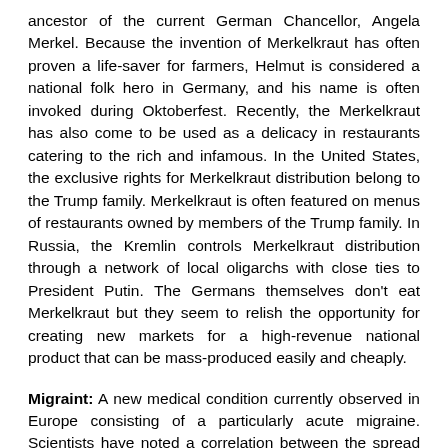ancestor of the current German Chancellor, Angela Merkel. Because the invention of Merkelkraut has often proven a life-saver for farmers, Helmut is considered a national folk hero in Germany, and his name is often invoked during Oktoberfest. Recently, the Merkelkraut has also come to be used as a delicacy in restaurants catering to the rich and infamous. In the United States, the exclusive rights for Merkelkraut distribution belong to the Trump family. Merkelkraut is often featured on menus of restaurants owned by members of the Trump family. In Russia, the Kremlin controls Merkelkraut distribution through a network of local oligarchs with close ties to President Putin. The Germans themselves don't eat Merkelkraut but they seem to relish the opportunity for creating new markets for a high-revenue national product that can be mass-produced easily and cheaply.
Migraint: A new medical condition currently observed in Europe consisting of a particularly acute migraine. Scientists have noted a correlation between the spread of Migraint and the rise of the Migrants and Refugees Crisis. Further studies are needed to confirm this observation. Meanwhile doctors